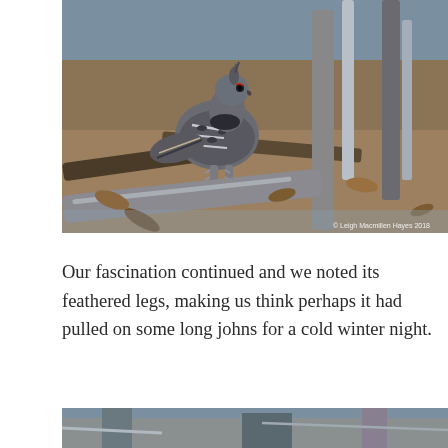[Figure (photo): A bird (ruffed grouse) standing among fallen leaves and branches in a wintry forest. The bird has speckled grey-brown plumage and feathered legs. Copyright watermark in lower right: © Leigh Macmillen Hayes 2018.]
Our fascination continued and we noted its feathered legs, making us think perhaps it had pulled on some long johns for a cold winter night.
[Figure (photo): Partial view of another photo of the same winter forest scene, cropped at the bottom of the page.]